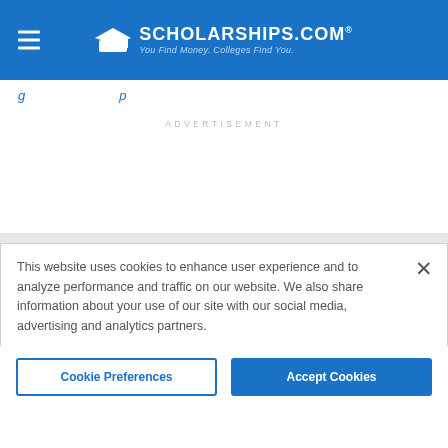SCHOLARSHIPS.COM® — You Find Money. Colleges Find You.
g ... p
ADVERTISEMENT
This website uses cookies to enhance user experience and to analyze performance and traffic on our website. We also share information about your use of our site with our social media, advertising and analytics partners.
Cookie Preferences
Accept Cookies